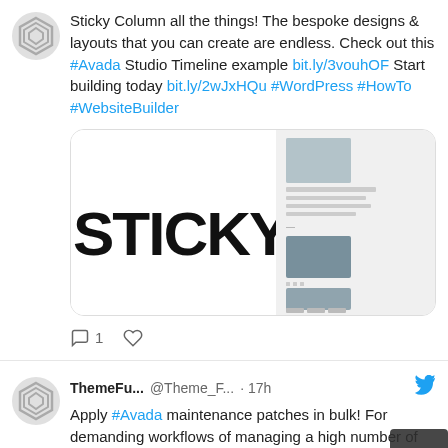Sticky Column all the things! The bespoke designs & layouts that you can create are endless. Check out this #Avada Studio Timeline example bit.ly/3vouhOF Start building today bit.ly/2wJxHQu #WordPress #HowTo #WebsiteBuilder
[Figure (screenshot): Screenshot of a website page showing 'STICKY COLUMNS' in large bold text with thumbnail images of architecture/buildings on the right side]
1 (like/comment icons)
ThemeFu... @Theme_F... · 17h  Apply #Avada maintenance patches in bulk! For demanding workflows of managing a high number of websites,